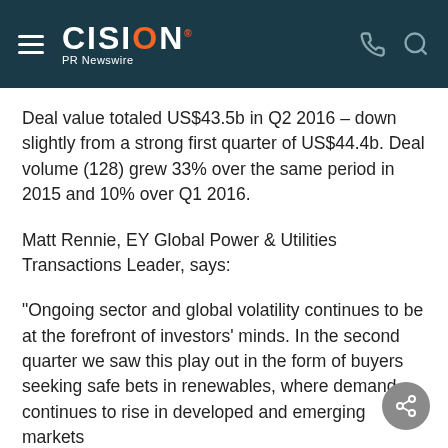CISION PR Newswire
Deal value totaled US$43.5b in Q2 2016 – down slightly from a strong first quarter of US$44.4b. Deal volume (128) grew 33% over the same period in 2015 and 10% over Q1 2016.
Matt Rennie, EY Global Power & Utilities Transactions Leader, says:
"Ongoing sector and global volatility continues to be at the forefront of investors' minds. In the second quarter we saw this play out in the form of buyers seeking safe bets in renewables, where demand continues to rise in developed and emerging markets